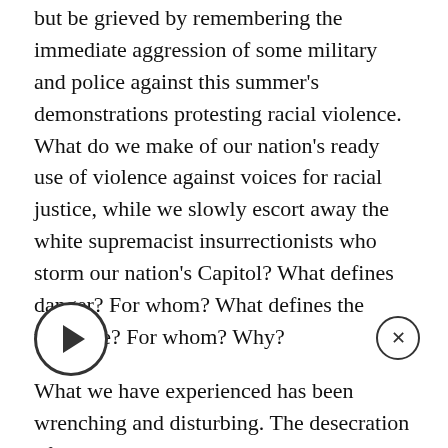but be grieved by remembering the immediate aggression of some military and police against this summer's demonstrations protesting racial violence. What do we make of our nation's ready use of violence against voices for racial justice, while we slowly escort away the white supremacist insurrectionists who storm our nation's Capitol? What defines danger? For whom? What defines the tolerable? For whom? Why?
What we have experienced has been wrenching and disturbing. The desecration of the Capitol inevitably has the headlines. The still deeper sorrow for me as a Christian leader has been the accompanying desecration of Christian life and